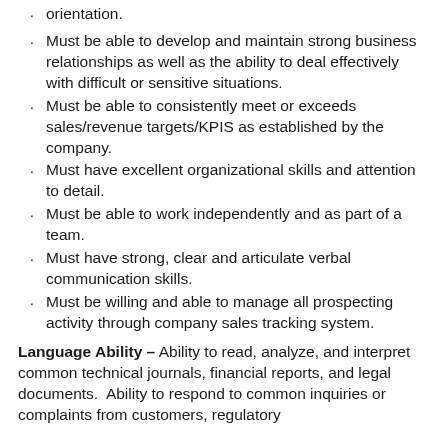orientation.
Must be able to develop and maintain strong business relationships as well as the ability to deal effectively with difficult or sensitive situations.
Must be able to consistently meet or exceeds sales/revenue targets/KPIS as established by the company.
Must have excellent organizational skills and attention to detail.
Must be able to work independently and as part of a team.
Must have strong, clear and articulate verbal communication skills.
Must be willing and able to manage all prospecting activity through company sales tracking system.
Language Ability – Ability to read, analyze, and interpret common technical journals, financial reports, and legal documents.  Ability to respond to common inquiries or complaints from customers, regulatory